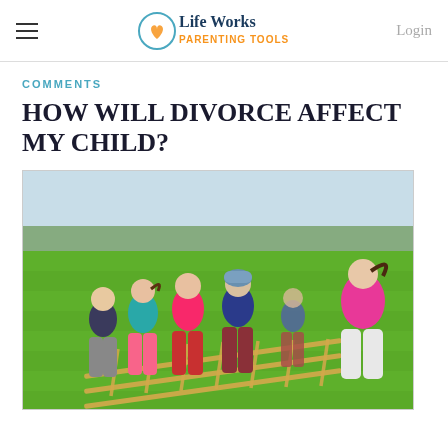Life Works Parenting Tools | Login
COMMENTS
HOW WILL DIVORCE AFFECT MY CHILD?
[Figure (photo): Children running and doing agility ladder drills on a green sports field, viewed from behind. They are wearing colorful jackets and athletic clothes.]